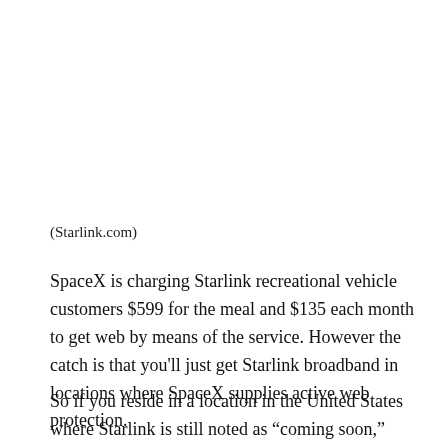(Starlink.com)
SpaceX is charging Starlink recreational vehicle customers $599 for the meal and $135 each month to get web by means of the service. However the catch is that you'll just get Starlink broadband in locations where SpaceX supplies active web protection.
So if you reside in a location in the United States where Starlink is still noted as “coming soon,” registering for Starlink recreational vehicle won’t assist.